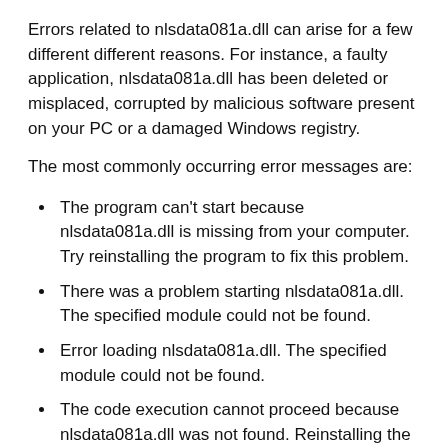Errors related to nlsdata081a.dll can arise for a few different different reasons. For instance, a faulty application, nlsdata081a.dll has been deleted or misplaced, corrupted by malicious software present on your PC or a damaged Windows registry.
The most commonly occurring error messages are:
The program can't start because nlsdata081a.dll is missing from your computer. Try reinstalling the program to fix this problem.
There was a problem starting nlsdata081a.dll. The specified module could not be found.
Error loading nlsdata081a.dll. The specified module could not be found.
The code execution cannot proceed because nlsdata081a.dll was not found. Reinstalling the program may fix this problem.
nlsdata081a.dll is either not designed to run on Windows or it contains an error. Try installing the program again using the original installation media or contact your system administrator or the software